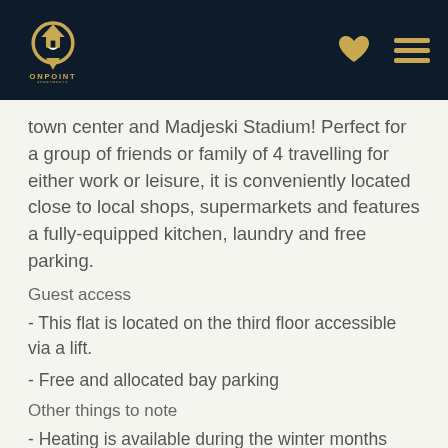[Figure (logo): OnPoint Apartments logo with house/pin icon in gold/white on dark navy background, with heart icon and hamburger menu icon on the right]
town center and Madjeski Stadium! Perfect for a group of friends or family of 4 travelling for either work or leisure, it is conveniently located close to local shops, supermarkets and features a fully-equipped kitchen, laundry and free parking.
Guest access
- This flat is located on the third floor accessible via a lift.
- Free and allocated bay parking
Other things to note
- Heating is available during the winter months